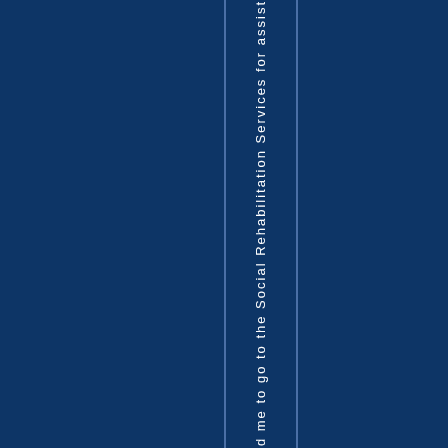d me to go to the Social Rehabilitation Services for assist